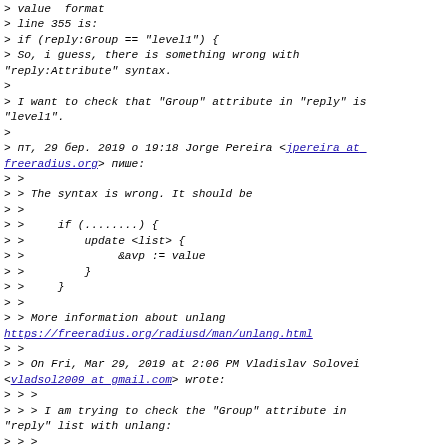> value  format
> line 355 is:
> if (reply:Group == "level1") {
> So, i guess, there is something wrong with "reply:Attribute" syntax.
>
> I want to check that "Group" attribute in "reply" is "level1".
>
> пт, 29 бер. 2019 о 19:18 Jorge Pereira <jpereira at freeradius.org> пише:
> >
> > The syntax is wrong. It should be
> >
> >     if (........) {
> >         update <list> {
> >              &avp := value
> >         }
> >     }
> >
> > More information about unlang
> https://freeradius.org/radiusd/man/unlang.html
> >
> > On Fri, Mar 29, 2019 at 2:06 PM Vladislav Solovei <vladsol2009 at gmail.com> wrote:
> > >
> > > I am trying to check the "Group" attribute in "reply" list with unlang:
> > >
> > > update reply {
> > > if (reply:Group == "level1") {